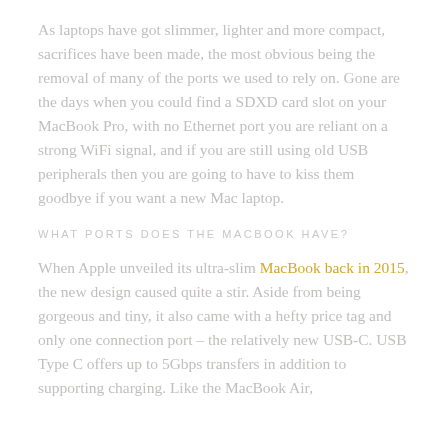As laptops have got slimmer, lighter and more compact, sacrifices have been made, the most obvious being the removal of many of the ports we used to rely on. Gone are the days when you could find a SDXD card slot on your MacBook Pro, with no Ethernet port you are reliant on a strong WiFi signal, and if you are still using old USB peripherals then you are going to have to kiss them goodbye if you want a new Mac laptop.
WHAT PORTS DOES THE MACBOOK HAVE?
When Apple unveiled its ultra-slim MacBook back in 2015, the new design caused quite a stir. Aside from being gorgeous and tiny, it also came with a hefty price tag and only one connection port – the relatively new USB-C. USB Type C offers up to 5Gbps transfers in addition to supporting charging. Like the MacBook Air,